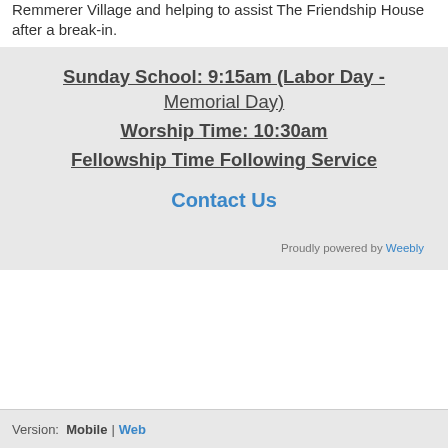Remmerer Village and helping to assist The Friendship House after a break-in.
Sunday School: 9:15am (Labor Day - Memorial Day)
Worship Time: 10:30am
Fellowship Time Following Service
Contact Us
Proudly powered by Weebly
Version: Mobile | Web